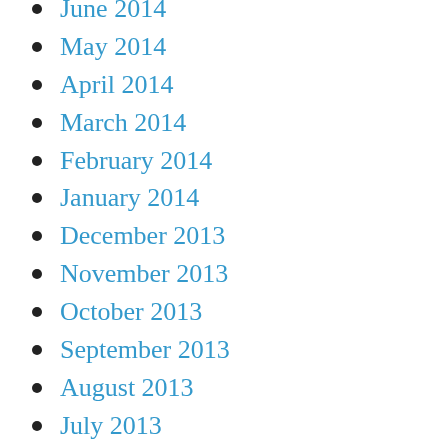June 2014
May 2014
April 2014
March 2014
February 2014
January 2014
December 2013
November 2013
October 2013
September 2013
August 2013
July 2013
June 2013
May 2013
April 2013
March 2013
February 2013